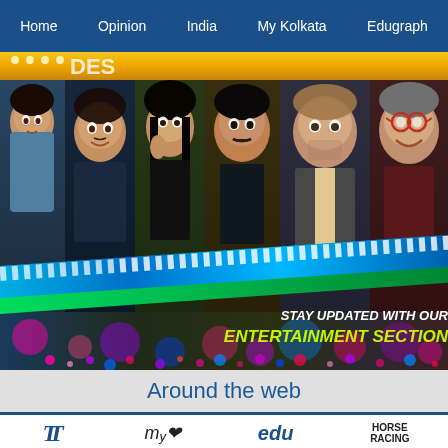Home | Opinion | India | My Kolkata | Edugraph
[Figure (photo): Entertainment section promotional banner showing multiple Bollywood and Hollywood actors in a collage format with decorative LED strips and text overlay reading 'STAY UPDATED WITH OUR ENTERTAINMENT SECTION']
STAY UPDATED WITH OUR ENTERTAINMENT SECTION
Around the web
[Figure (logo): Logo bar with four logos: TT (Telegraph), My Kolkata, edu (Edugraph), and HORSE RACING]
TT | my | edu | HORSE RACING